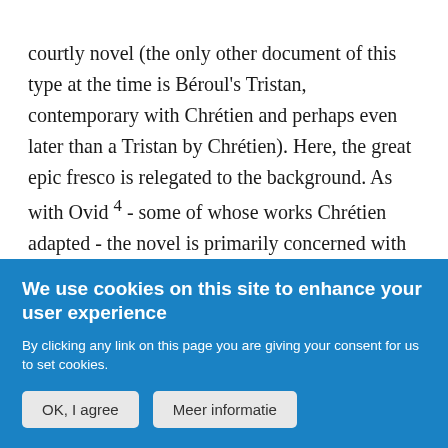courtly novel (the only other document of this type at the time is Béroul's Tristan, contemporary with Chrétien and perhaps even later than a Tristan by Chrétien). Here, the great epic fresco is relegated to the background. As with Ovid⁴ - some of whose works Chrétien adapted - the novel is primarily concerned with the psychology of the characters, the consequences of their actions and the complex relationships between human beings caught up in a bundle of tensions: desires, morals, duties
We use cookies on this site to enhance your user experience
By clicking any link on this page you are giving your consent for us to set cookies.